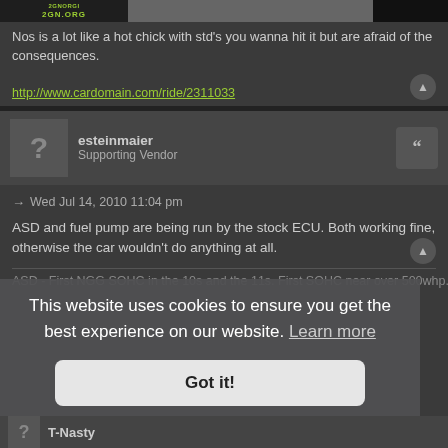[Figure (screenshot): Forum banner image with 2GN.ORG logo and car photo]
Nos is a lot like a hot chick with std's you wanna hit it but are afraid of the consequences.
http://www.cardomain.com/ride/2311033
esteinmaier
Supporting Vendor
Wed Jul 14, 2010 11:04 pm
ASD and fuel pump are being run by the stock ECU. Both working fine, otherwise the car wouldn't do anything at all.
ASD - First NGG SOHC in the 10s and the 11s. First SOHC near over 500whp.
This website uses cookies to ensure you get the best experience on our website. Learn more
Got it!
T-Nasty